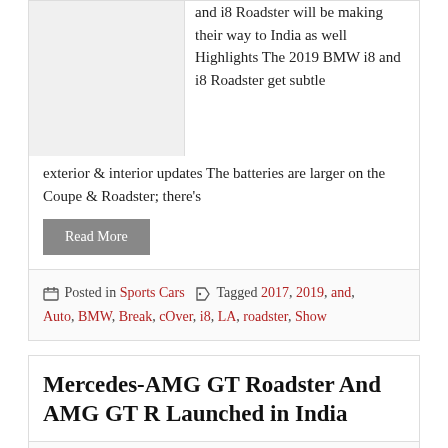and i8 Roadster will be making their way to India as well Highlights The 2019 BMW i8 and i8 Roadster get subtle exterior & interior updates The batteries are larger on the Coupe & Roadster; there's
Read More
Posted in Sports Cars  Tagged 2017, 2019, and, Auto, BMW, Break, cOver, i8, LA, roadster, Show
Mercedes-AMG GT Roadster And AMG GT R Launched in India
Posted on August 21, 2017  by Loknath Das
Mercedes-AMG has launched not